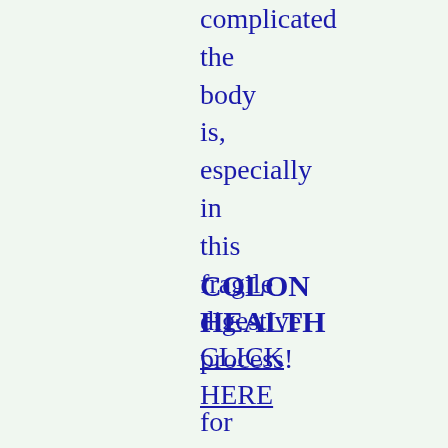complicated the body is, especially in this fragile digestive process!
COLON HEALTH
CLICK HERE for details on